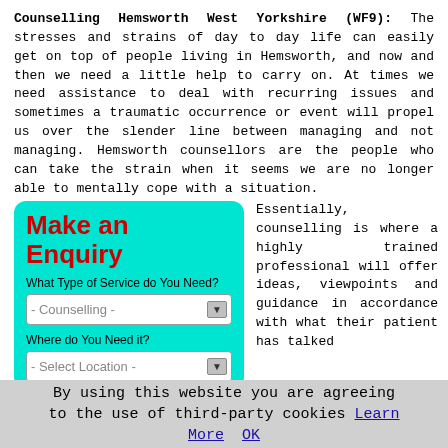Counselling Hemsworth West Yorkshire (WF9): The stresses and strains of day to day life can easily get on top of people living in Hemsworth, and now and then we need a little help to carry on. At times we need assistance to deal with recurring issues and sometimes a traumatic occurrence or event will propel us over the slender line between managing and not managing. Hemsworth counsellors are the people who can take the strain when it seems we are no longer able to mentally cope with a situation.
[Figure (other): Make an Enquiry form panel with cyan background, title 'Make an Enquiry' in red bold, two dropdown selects: '- Counselling -' and '- Select Location -', and a text area label 'Describe Your Requirements:']
Essentially, counselling is where a highly trained professional will offer ideas, viewpoints and guidance in accordance with what their patient has talked
By using this website you are agreeing to the use of third-party cookies Learn More  OK